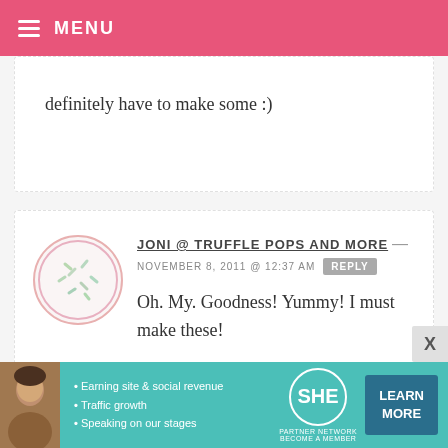MENU
definitely have to make some :)
JONI @ TRUFFLE POPS AND MORE — NOVEMBER 8, 2011 @ 12:37 AM REPLY
Oh. My. Goodness! Yummy! I must make these!
MARIA — NOVEMBER 8, 2011 @ 12:26 AM REPLY
I agree, cookies are comforting. You
[Figure (infographic): SHE Partner Network advertisement banner with bullet points: Earning site & social revenue, Traffic growth, Speaking on our stages. Includes LEARN MORE button.]